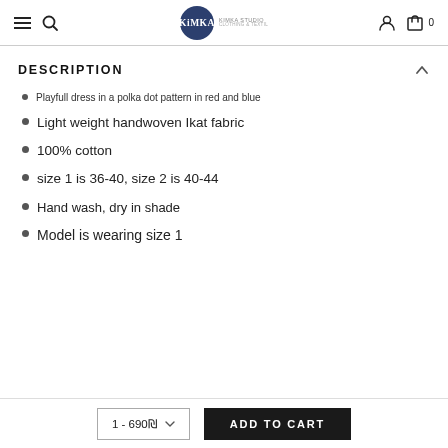KIMKA Studio — navigation header with hamburger menu, search, logo, account, and cart icons
DESCRIPTION
Playfull dress in a polka dot pattern in red and blue
Light weight handwoven Ikat fabric
100% cotton
size 1 is 36-40, size 2 is 40-44
Hand wash, dry in shade
Model is wearing size 1
1 - 690₪  ADD TO CART